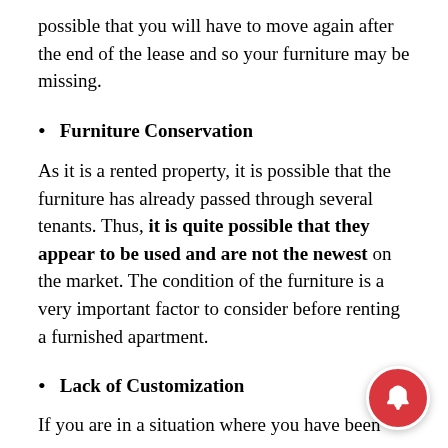possible that you will have to move again after the end of the lease and so your furniture may be missing.
Furniture Conservation
As it is a rented property, it is possible that the furniture has already passed through several tenants. Thus, it is quite possible that they appear to be used and are not the newest on the market. The condition of the furniture is a very important factor to consider before renting a furnished apartment.
Lack of Customization
If you are in a situation where you have been...